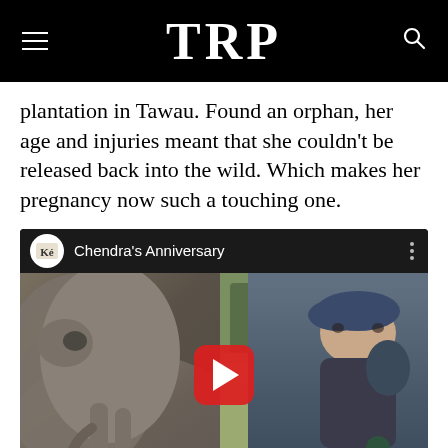TRP
plantation in Tawau. Found an orphan, her age and injuries meant that she couldn't be released back into the wild. Which makes her pregnancy now such a touching one.
[Figure (screenshot): YouTube video embed showing 'Chendra's Anniversary' with a thumbnail image of an elephant and a zookeeper, featuring a red YouTube play button in the center.]